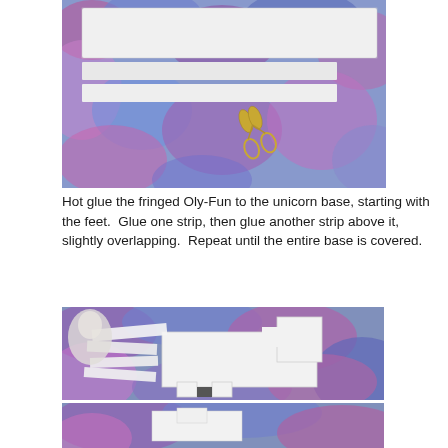[Figure (photo): Photo showing white paper strips and scissors on a colorful blue-pink-purple fuzzy fabric background. The strips of paper appear to be cut for crafting a unicorn.]
Hot glue the fringed Oly-Fun to the unicorn base, starting with the feet.  Glue one strip, then glue another strip above it, slightly overlapping.  Repeat until the entire base is covered.
[Figure (photo): Photo showing a white cardboard unicorn base shape (body, legs, head) on a colorful blue-pink-purple fuzzy fabric background, with fringe pieces of white Oly-Fun fabric partially attached. A small decorative figurine is visible in the top left.]
[Figure (photo): Partial photo at the bottom showing more of the crafting process with white paper/fabric on the colorful fuzzy background.]